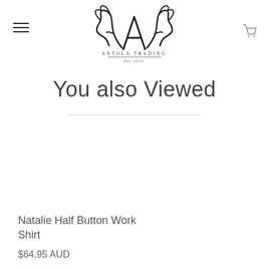[Figure (logo): Antola Trading logo with antlers and text 'ANTOLA TRADING Est 2015']
You also Viewed
SOLD OUT
Natalie Half Button Work Shirt
$64.95 AUD